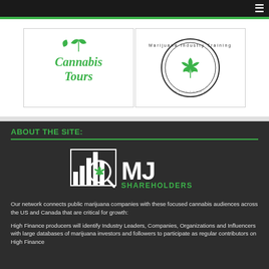[Figure (logo): Cannabis Tours italic green logo in a white bordered box]
[Figure (logo): Marijuana Industry Training circular seal logo with cannabis leaf]
ABOUT THE SITE:
[Figure (logo): MJ Shareholders logo with bar chart and magnifying glass with cannabis leaf]
Our network connects public marijuana companies with these focused cannabis audiences across the US and Canada that are critical for growth:
High Finance producers will identify Industry Leaders, Companies, Organizations and Influencers with large databases of marijuana investors and followers to participate as regular contributors on High Finance